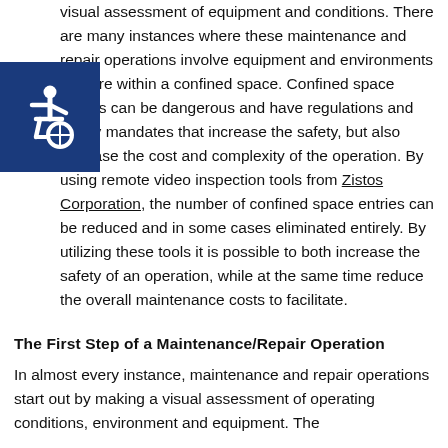visual assessment of equipment and conditions. There are many instances where these maintenance and repair operations involve equipment and environments that are within a confined space. Confined space entries can be dangerous and have regulations and safety mandates that increase the safety, but also increase the cost and complexity of the operation. By using remote video inspection tools from Zistos Corporation, the number of confined space entries can be reduced and in some cases eliminated entirely. By utilizing these tools it is possible to both increase the safety of an operation, while at the same time reduce the overall maintenance costs to facilitate.
[Figure (illustration): Accessibility icon — white wheelchair symbol on dark blue square background]
The First Step of a Maintenance/Repair Operation
In almost every instance, maintenance and repair operations start out by making a visual assessment of operating conditions, environment and equipment. The